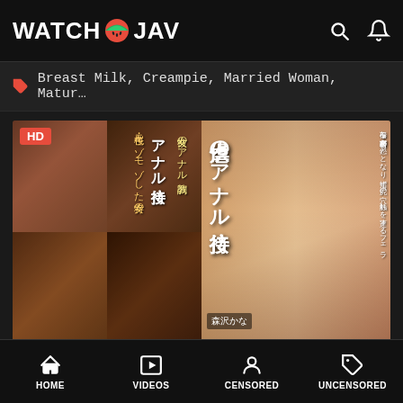WATCH JAV
Breast Milk, Creampie, Married Woman, Matur…
[Figure (photo): JAV DVD cover thumbnail for RBD-974 showing adult content collage on left and cover art on right with Japanese text アナル接待]
RBD-974
Attackers
HOME  VIDEOS  CENSORED  UNCENSORED